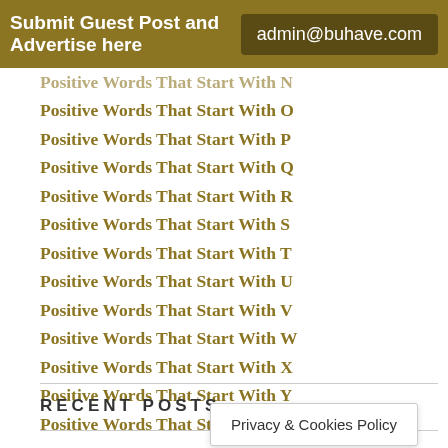Submit Guest Post and Advertise here | admin@buhave.com
Positive Words That Start With N
Positive Words That Start With O
Positive Words That Start With P
Positive Words That Start With Q
Positive Words That Start With R
Positive Words That Start With S
Positive Words That Start With T
Positive Words That Start With U
Positive Words That Start With V
Positive Words That Start With W
Positive Words That Start With X
Positive Words That Start With Y
Positive Words That Start With Z
RECENT POSTS
Privacy & Cookies Policy